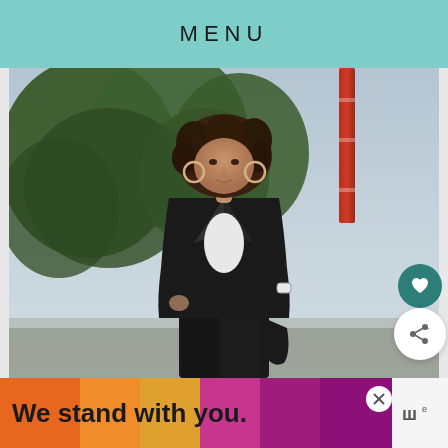MENU
[Figure (photo): Outdoor photo of a curly-haired woman wearing a black blazer over a graphic t-shirt and black pants, with hoop earrings and a watch, walking outdoors against a background of green trees and a red chimney or tower, with an overcast sky.]
We stand with you.